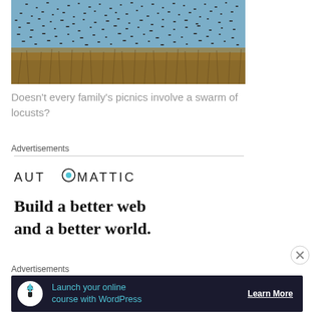[Figure (photo): A large swarm of locusts or birds flying over a field of golden/brown grass against a blue sky]
Doesn't every family's picnics involve a swarm of locusts?
Advertisements
[Figure (logo): AUTOMATTIC logo with a circular icon replacing the O]
Build a better web and a better world.
[Figure (other): Close/X button circle]
Advertisements
[Figure (infographic): Dark banner ad: icon of person with tree, text 'Launch your online course with WordPress', Learn More button]